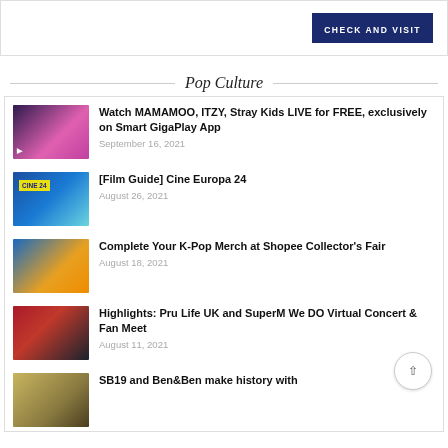[Figure (other): Blue banner with CHECK AND VISIT button]
Pop Culture
[Figure (photo): Thumbnail for MAMAMOO/ITZY/Stray Kids article - pink/purple concert image]
Watch MAMAMOO, ITZY, Stray Kids LIVE for FREE, exclusively on Smart GigaPlay App
September 16, 2021
[Figure (photo): Thumbnail for Cine Europa 24 - blue background with Cine24 logo]
[Film Guide] Cine Europa 24
August 26, 2021
[Figure (photo): Thumbnail for K-Pop Merch article - blue and gold Shopee image]
Complete Your K-Pop Merch at Shopee Collector's Fair
August 18, 2021
[Figure (photo): Thumbnail for Pru Life UK SuperM concert - red and dark image]
Highlights: Pru Life UK and SuperM We DO Virtual Concert & Fan Meet
August 11, 2021
[Figure (photo): Thumbnail for SB19 and Ben&Ben article - vintage map image]
SB19 and Ben&Ben make history with